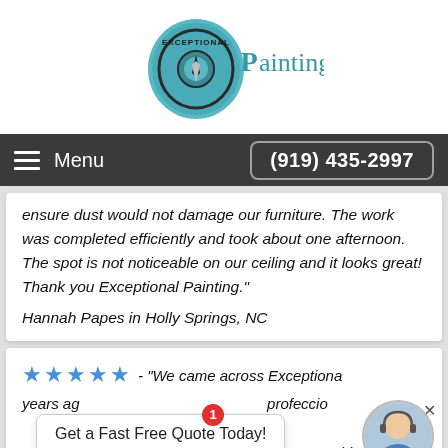[Figure (logo): Exceptional Painting logo with teal compass/stamp graphic and 'Painting' text in teal/dark blue]
Menu  (919) 435-2997
ensure dust would not damage our furniture. The work was completed efficiently and took about one afternoon. The spot is not noticeable on our ceiling and it looks great! Thank you Exceptional Painting."
Hannah Papes in Holly Springs, NC
★★★★★ - "We came across Exceptional... years ago... professional... project completion, communication, and customer care blew
[Figure (screenshot): Chat popup overlay: 'Get a Fast Free Quote Today!' with notification badge '1' and customer service avatar photo, with X close button]